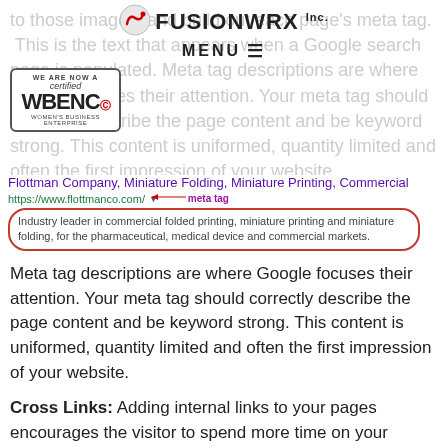[Figure (logo): FusionWRX Inc. logo with circular icon and bold text]
MENU ≡
[Figure (logo): WBENC Certified Women's Business Enterprise badge]
to those images, and build out each page's meta tag. This is the text that appears when a Google search page is populated. Meta tag descriptions are where Google focuses their attention. Your meta tag should correctly describe the page content and be keyword strong. This content is uniformed, quantity limited and often the first impression of your website.
[Figure (screenshot): Google search result snippet showing Flottman Company listing with meta tag label annotation and red oval highlighting the description text: 'Industry leader in commercial folded printing, miniature printing and miniature folding, for the pharmaceutical, medical device and commercial markets.']
Meta tag descriptions are where Google focuses their attention. Your meta tag should correctly describe the page content and be keyword strong. This content is uniformed, quantity limited and often the first impression of your website.
Cross Links: Adding internal links to your pages encourages the visitor to spend more time on your